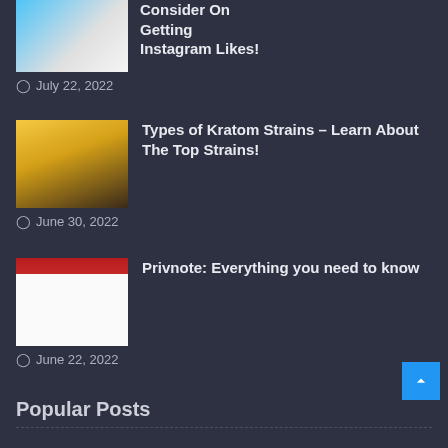Consider On Getting Instagram Likes!
July 22, 2022
[Figure (photo): Thumbnail image for Instagram Likes article]
Types of Kratom Strains – Learn About The Top Strains!
June 30, 2022
[Figure (photo): Thumbnail image of Kratom product bag]
Privnote: Everything you need to know
June 22, 2022
[Figure (screenshot): Screenshot of Privnote website interface]
Popular Posts